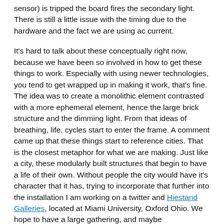sensor) is tripped the board fires the secondary light. There is still a little issue with the timing due to the hardware and the fact we are using ac current.
It's hard to talk about these conceptually right now, because we have been so involved in how to get these things to work. Especially with using newer technologies, you tend to get wrapped up in making it work, that's fine. The idea was to create a monolithic element contrasted with a more ephemeral element, hence the large brick structure and the dimming light. From that ideas of breathing, life, cycles start to enter the frame. A comment came up that these things start to reference cities. That is the closest metaphor for what we are making. Just like a city, these modularly built structures that begin to have a life of their own. Without people the city would have it's character that it has, trying to incorporate that further into the installation I am working on a twitter and Hiestand Galleries, located at Miami University, Oxford Ohio. We hope to have a large gathering, and maybe